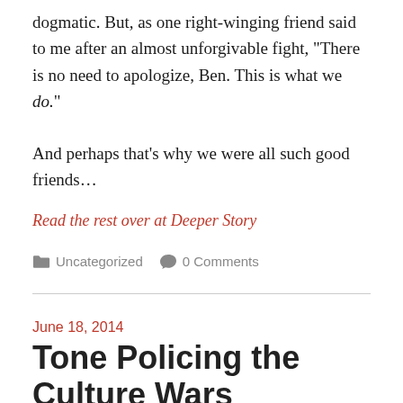dogmatic. But, as one right-winging friend said to me after an almost unforgivable fight, “There is no need to apologize, Ben. This is what we do.”
And perhaps that’s why we were all such good friends…
Read the rest over at Deeper Story
📁 Uncategorized   💬 0 Comments
June 18, 2014
Tone Policing the Culture Wars